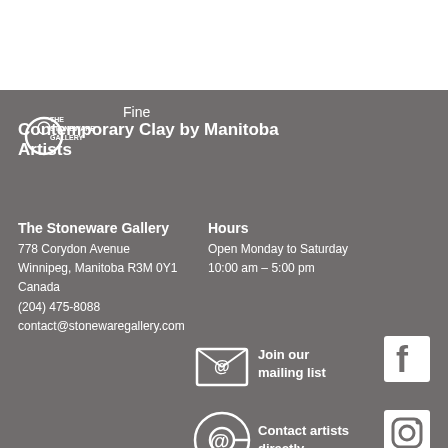[Figure (logo): The Stoneware Gallery logo - circular emblem with text]
Fine Contemporary Clay by Manitoba Artists
The Stoneware Gallery
778 Corydon Avenue
Winnipeg, Manitoba R3M 0Y1
Canada
(204) 475-8088
contact@stonewaregallery.com
Hours
Open Monday to Saturday 10:00 am – 5:00 pm
[Figure (illustration): Envelope with @ symbol - mailing list icon]
Join our mailing list
[Figure (logo): Facebook logo icon]
[Figure (illustration): @ symbol icon for contacting artists directly]
Contact artists directly
[Figure (logo): Instagram logo icon]